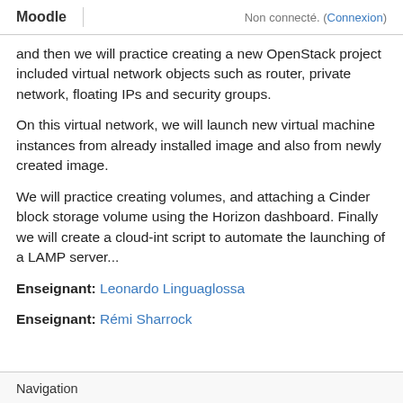Moodle | Non connecté. (Connexion)
and then we will practice creating a new OpenStack project included virtual network objects such as router, private network, floating IPs and security groups.
On this virtual network, we will launch new virtual machine instances from already installed image and also from newly created image.
We will practice creating volumes, and attaching a Cinder block storage volume using the Horizon dashboard. Finally we will create a cloud-int script to automate the launching of a LAMP server...
Enseignant: Leonardo Linguaglossa
Enseignant: Rémi Sharrock
Navigation